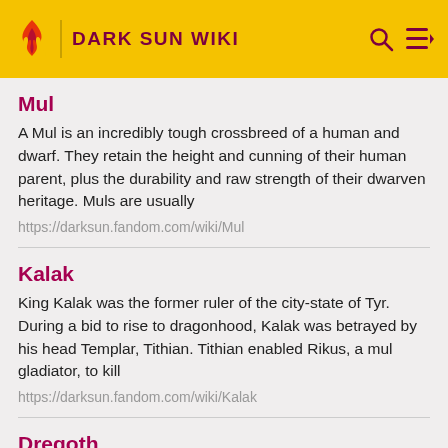DARK SUN WIKI
Mul
A Mul is an incredibly tough crossbreed of a human and dwarf. They retain the height and cunning of their human parent, plus the durability and raw strength of their dwarven heritage. Muls are usually
https://darksun.fandom.com/wiki/Mul
Kalak
King Kalak was the former ruler of the city-state of Tyr. During a bid to rise to dragonhood, Kalak was betrayed by his head Templar, Tithian. Tithian enabled Rikus, a mul gladiator, to kill
https://darksun.fandom.com/wiki/Kalak
Dregoth
Huge undead, Chaotic Evil (CE). Dregoth was taken the title of Dregoth of Giustenal. Besides he was the 3rd Champion of Priest